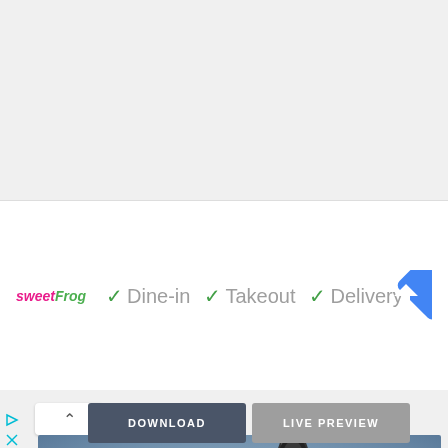[Figure (screenshot): A white banner card showing the sweetFrog logo followed by green checkmarks and service labels: Dine-in, Takeout, Delivery, with a blue navigation/directions icon on the right.]
[Figure (photo): A close-up photo of a microphone with a red band/ring near the top, with a blurred crowd/audience in the background.]
DOWNLOAD
LIVE PREVIEW